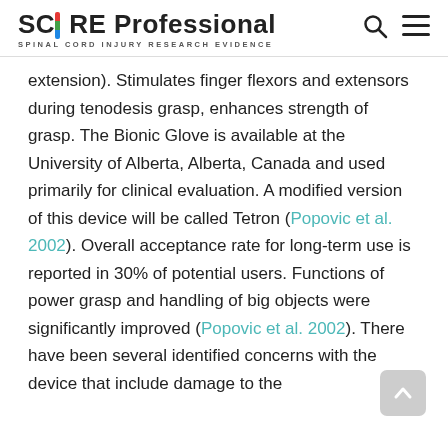SCIRE Professional – SPINAL CORD INJURY RESEARCH EVIDENCE
extension). Stimulates finger flexors and extensors during tenodesis grasp, enhances strength of grasp. The Bionic Glove is available at the University of Alberta, Alberta, Canada and used primarily for clinical evaluation. A modified version of this device will be called Tetron (Popovic et al. 2002). Overall acceptance rate for long-term use is reported in 30% of potential users. Functions of power grasp and handling of big objects were significantly improved (Popovic et al. 2002). There have been several identified concerns with the device that include damage to the